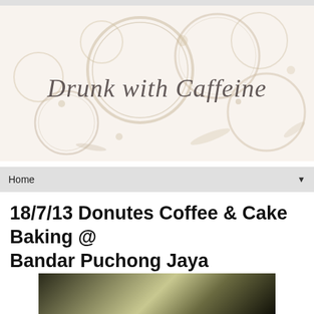[Figure (illustration): Blog header banner with coffee ring stains watermark art and cursive script text 'Drunk with Caffeine' on a light beige/cream background]
Home ▼
18/7/13 Donutes Coffee & Cake Baking @ Bandar Puchong Jaya
[Figure (photo): Partial photo of what appears to be a baking or coffee-related setup, dark background with some light-colored objects visible]